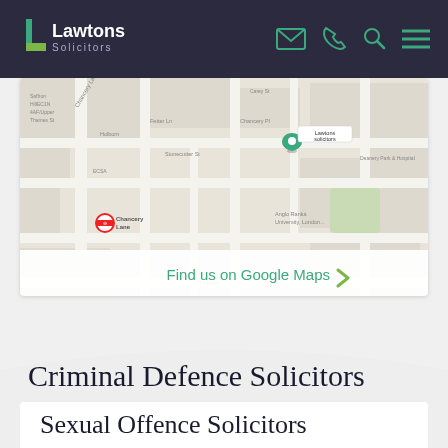[Figure (logo): Lawtons Solicitors logo — white text on dark navy header with teal and green shield graphic]
[Figure (map): Google Maps screenshot showing London streets around Chancery Lane with a Lawtons Solicitors pin marker. Includes 'Find us on Google Maps' link with green arrow.]
Criminal Defence Solicitors based in London and the South
Sexual Offence Solicitors